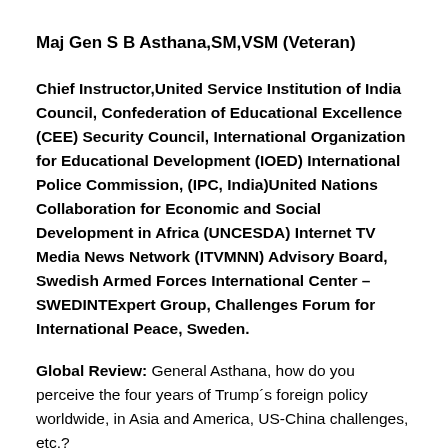Maj Gen S B Asthana,SM,VSM (Veteran)
Chief Instructor,United Service Institution of India Council, Confederation of Educational Excellence (CEE) Security Council, International Organization for Educational Development (IOED) International Police Commission, (IPC, India)United Nations Collaboration for Economic and Social Development in Africa (UNCESDA) Internet TV Media News Network (ITVMNN) Advisory Board, Swedish Armed Forces International Center – SWEDINTExpert Group, Challenges Forum for International Peace, Sweden.
Global Review: General Asthana, how do you perceive the four years of Trump´s foreign policy worldwide, in Asia and America, US-China challenges, etc.?